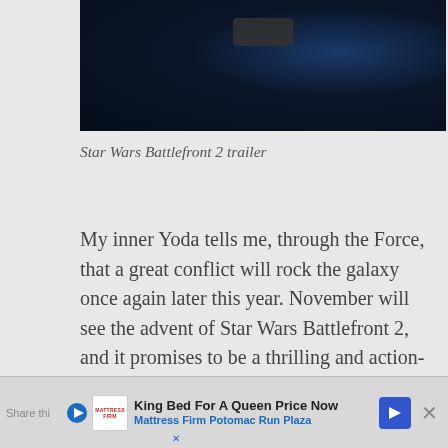[Figure (screenshot): Dark sci-fi video game screenshot/trailer thumbnail for Star Wars Battlefront 2, showing a dark blue space/character scene with a play button overlay]
Star Wars Battlefront 2 trailer
My inner Yoda tells me, through the Force, that a great conflict will rock the galaxy once again later this year. November will see the advent of Star Wars Battlefront 2, and it promises to be a thrilling and action-packed shooter that will once again call our attention to the iconic Star War series. So, run to the dressmaker and get that familiar brown
Share this